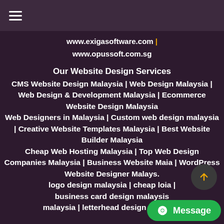☰ (hamburger menu)
www.exigasoftware.com | www.opussoft.com.sg
Our Website Design Services
CMS Website Design Malaysia | Web Design Malaysia | Web Design & Development Malaysia | Ecommerce Website Design Malaysia Web Designers in Malaysia | Custom web design malaysia | Creative Website Templates Malaysia | Best Website Builder Malaysia Cheap Web Hosting Malaysia | Top Web Design Companies Malaysia | Business Website Malaysia | WordPress Website Designer Malaysia logo design malaysia | cheap logo design malaysia | business card design malaysia | ... malaysia | letterhead design malaysia